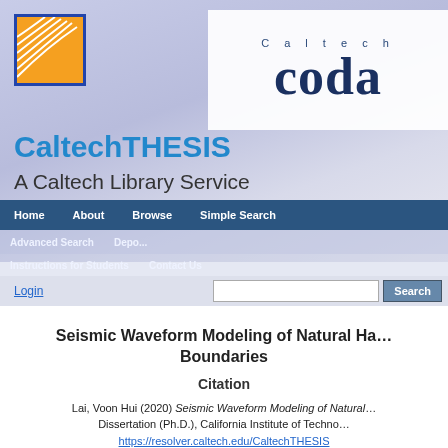[Figure (screenshot): CaltechTHESIS website header banner with orange Caltech logo, Caltech CODA branding, navigation bars, and search field]
Seismic Waveform Modeling of Natural Hazards at Tectonic Boundaries
Citation
Lai, Voon Hui (2020) Seismic Waveform Modeling of Natural Hazards at Tectonic Boundaries. Dissertation (Ph.D.), California Institute of Technology. https://resolver.caltech.edu/CaltechTHESIS